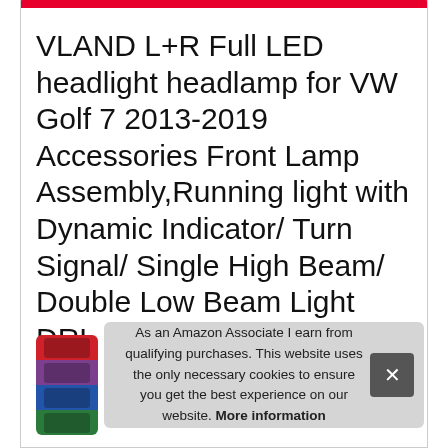VLAND L+R Full LED headlight headlamp for VW Golf 7 2013-2019 Accessories Front Lamp Assembly,Running light with Dynamic Indicator/ Turn Signal/ Single High Beam/ Double Low Beam Light DRL E-MARK RHD
[Figure (photo): Vertical strip of product thumbnail images showing LED headlights with colored backgrounds: red, purple, blue, green]
As an Amazon Associate I earn from qualifying purchases. This website uses the only necessary cookies to ensure you get the best experience on our website. More information